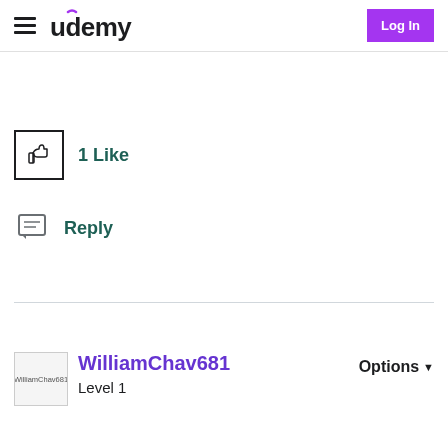Udemy | Log In
1 Like
Reply
WilliamChav681 Level 1 Options